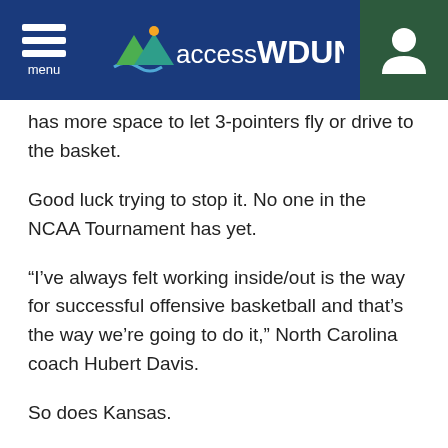accessWDUN
has more space to let 3-pointers fly or drive to the basket.
Good luck trying to stop it. No one in the NCAA Tournament has yet.
“I’ve always felt working inside/out is the way for successful offensive basketball and that’s the way we’re going to do it,” North Carolina coach Hubert Davis.
So does Kansas.